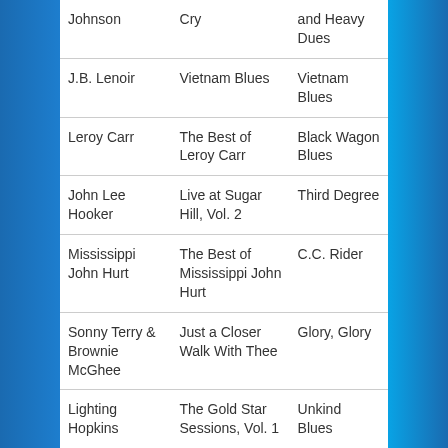| Artist | Album | Song |
| --- | --- | --- |
| Johnson | Cry | and Heavy Dues |
| J.B. Lenoir | Vietnam Blues | Vietnam Blues |
| Leroy Carr | The Best of Leroy Carr | Black Wagon Blues |
| John Lee Hooker | Live at Sugar Hill, Vol. 2 | Third Degree |
| Mississippi John Hurt | The Best of Mississippi John Hurt | C.C. Rider |
| Sonny Terry & Brownie McGhee | Just a Closer Walk With Thee | Glory, Glory |
| Lighting Hopkins | The Gold Star Sessions, Vol. 1 | Unkind Blues |